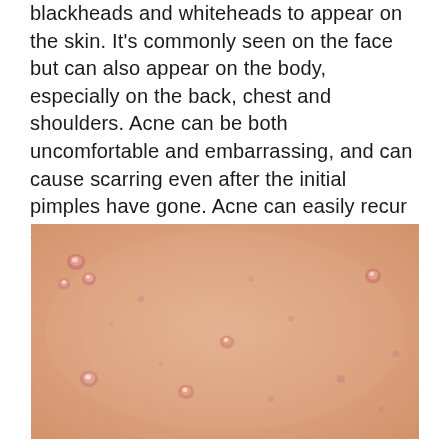blackheads and whiteheads to appear on the skin. It's commonly seen on the face but can also appear on the body, especially on the back, chest and shoulders. Acne can be both uncomfortable and embarrassing, and can cause scarring even after the initial pimples have gone. Acne can easily recur and frequent breakouts are common.
[Figure (photo): Close-up photograph of skin showing acne — multiple small pink pimples and whiteheads scattered across a tan/peach-toned skin surface, likely the back or chest area.]